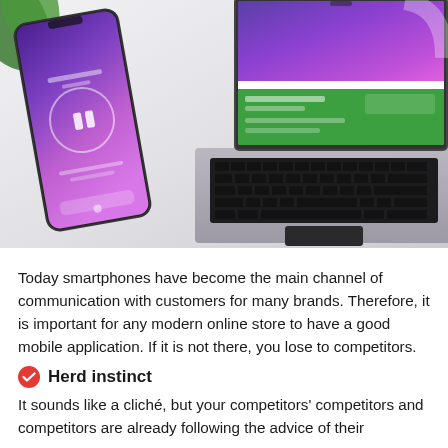[Figure (photo): A smartphone with a purple gradient app screen showing a pause button and circle UI, placed next to an open laptop displaying a colorful app or website with purple and green sections, both on a white desk with a plant visible in the background.]
Today smartphones have become the main channel of communication with customers for many brands. Therefore, it is important for any modern online store to have a good mobile application. If it is not there, you lose to competitors.
Herd instinct
It sounds like a cliché, but your competitors' competitors and competitors are already following the advice of their